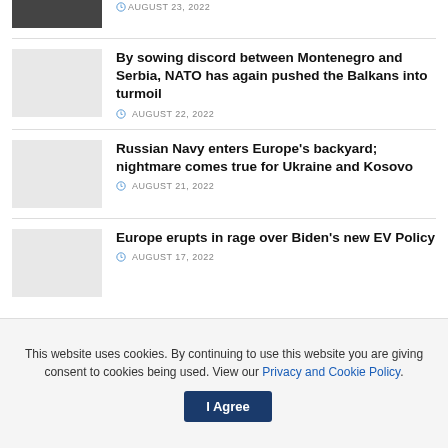[Figure (photo): Partial photo of people at top, cropped]
AUGUST 23, 2022
By sowing discord between Montenegro and Serbia, NATO has again pushed the Balkans into turmoil
AUGUST 22, 2022
Russian Navy enters Europe's backyard; nightmare comes true for Ukraine and Kosovo
AUGUST 21, 2022
Europe erupts in rage over Biden's new EV Policy
AUGUST 17, 2022
This website uses cookies. By continuing to use this website you are giving consent to cookies being used. View our Privacy and Cookie Policy.
I Agree